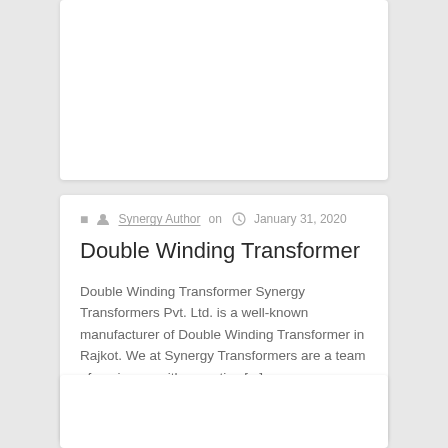[Figure (other): Top card placeholder area (white card with rounded corners, partially visible at top of page)]
Synergy Author on  January 31, 2020
Double Winding Transformer
Double Winding Transformer Synergy Transformers Pvt. Ltd. is a well-known manufacturer of Double Winding Transformer in Rajkot. We at Synergy Transformers are a team of engineers with expertise [...]
0  0  Read more
[Figure (other): Bottom card placeholder area (white card with rounded corners, partially visible at bottom of page)]